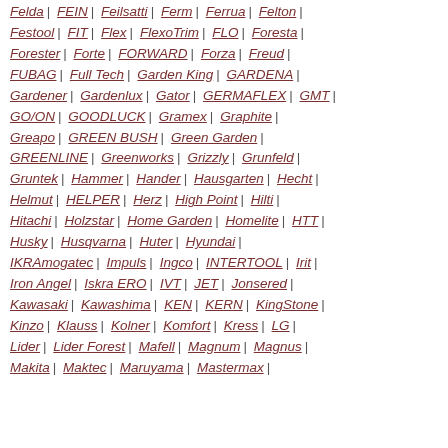Felda | FEIN | Feilsatti | Ferm | Ferrua | Felton | Festool | FIT | Flex | FlexoTrim | FLO | Foresta | Forester | Forte | FORWARD | Forza | Freud | FUBAG | Full Tech | Garden King | GARDENA | Gardener | Gardenlux | Gator | GERMAFLEX | GMT | GO/ON | GOODLUCK | Gramex | Graphite | Greapo | GREEN BUSH | Green Garden | GREENLINE | Greenworks | Grizzly | Grunfeld | Gruntek | Hammer | Hander | Hausgarten | Hecht | Helmut | HELPER | Herz | High Point | Hilti | Hitachi | Holzstar | Home Garden | Homelite | HTT | Husky | Husqvarna | Huter | Hyundai | IKRAmogatec | Impuls | Ingco | INTERTOOL | Irit | Iron Angel | Iskra ERO | IVT | JET | Jonsered | Kawasaki | Kawashima | KEN | KERN | KingStone | Kinzo | Klauss | Kolner | Komfort | Kress | LG | Lider | Lider Forest | Mafell | Magnum | Magnus | Makita | Maktec | Maruyama | Mastermax |